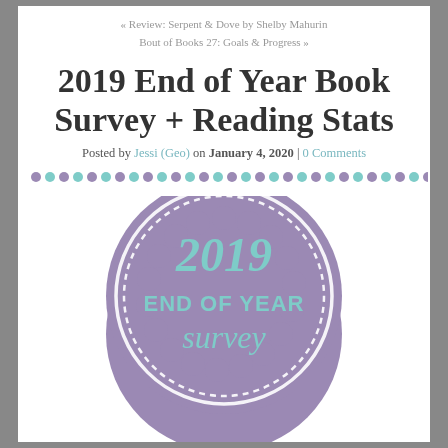« Review: Serpent & Dove by Shelby Mahurin
Bout of Books 27: Goals & Progress »
2019 End of Year Book Survey + Reading Stats
Posted by Jessi (Geo) on January 4, 2020 | 0 Comments
[Figure (illustration): Decorative dots row alternating purple and teal colors]
[Figure (illustration): Circular badge/seal graphic with scalloped edge in muted purple color, containing text '2019 END OF YEAR survey' in teal lettering with dashed inner circle]